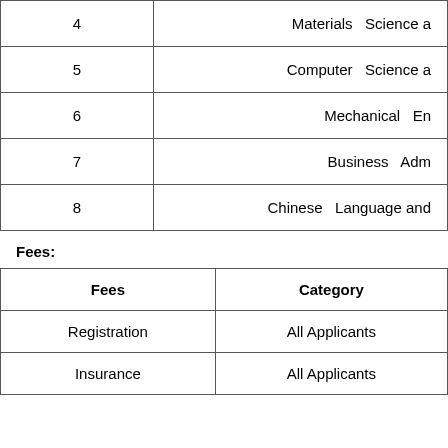| # | Subject |
| --- | --- |
| 4 | Materials  Science a |
| 5 | Computer  Science a |
| 6 | Mechanical  En |
| 7 | Business  Adm |
| 8 | Chinese  Language and |
Fees:
| Fees | Category |
| --- | --- |
| Registration | All Applicants |
| Insurance | All Applicants |